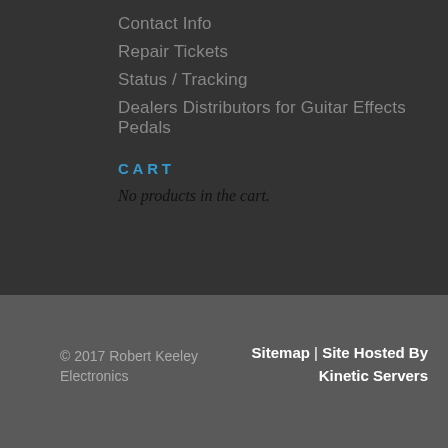Contact Info
Repair Tickets
Status / Tracking
Dealers Distributors for Guitar Effects Pedals
CART
No products in the cart.
© 2017 Robert Keeley Electronics   Sitemap | Site Hosted By Kinetic Servers